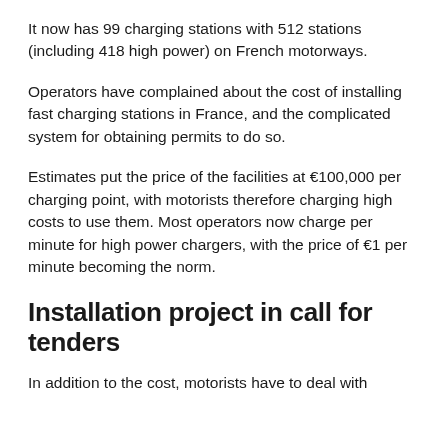It now has 99 charging stations with 512 stations (including 418 high power) on French motorways.
Operators have complained about the cost of installing fast charging stations in France, and the complicated system for obtaining permits to do so.
Estimates put the price of the facilities at €100,000 per charging point, with motorists therefore charging high costs to use them. Most operators now charge per minute for high power chargers, with the price of €1 per minute becoming the norm.
Installation project in call for tenders
In addition to the cost, motorists have to deal with